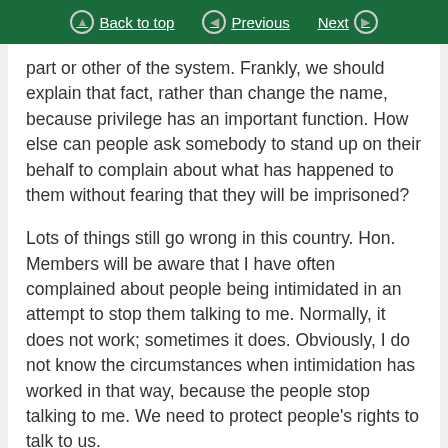Back to top | Previous | Next
part or other of the system. Frankly, we should explain that fact, rather than change the name, because privilege has an important function. How else can people ask somebody to stand up on their behalf to complain about what has happened to them without fearing that they will be imprisoned?
Lots of things still go wrong in this country. Hon. Members will be aware that I have often complained about people being intimidated in an attempt to stop them talking to me. Normally, it does not work; sometimes it does. Obviously, I do not know the circumstances when intimidation has worked in that way, because the people stop talking to me. We need to protect people’s rights to talk to us.